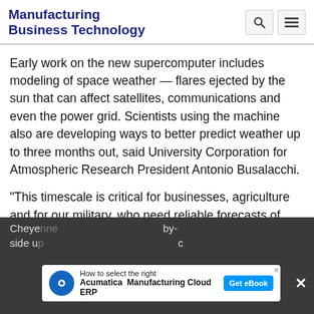Manufacturing Business Technology
Early work on the new supercomputer includes modeling of space weather — flares ejected by the sun that can affect satellites, communications and even the power grid. Scientists using the machine also are developing ways to better predict weather up to three months out, said University Corporation for Atmospheric Research President Antonio Busalacchi.
"This timescale is critical for businesses, agriculture and for our military, who need reliable forecasts of longer-term weather forecasts," Busalacchi said.
Cheye... by-side u... c
[Figure (other): Acumatica advertisement banner: How to select the right Manufacturing Cloud ERP – Get eBook]